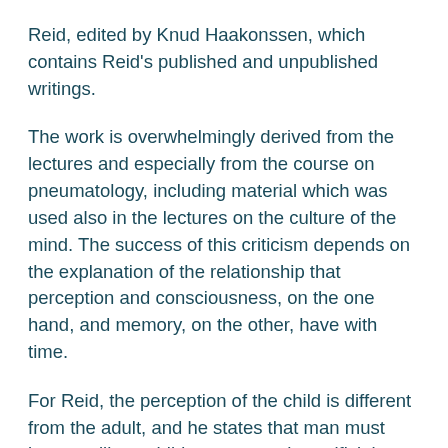Reid, edited by Knud Haakonssen, which contains Reid's published and unpublished writings.
The work is overwhelmingly derived from the lectures and especially from the course on pneumatology, including material which was used also in the lectures on the culture of the mind. The success of this criticism depends on the explanation of the relationship that perception and consciousness, on the one hand, and memory, on the other, have with time.
For Reid, the perception of the child is different from the adult, and he states that man must become like a child to get past the artificial perception of the adult, which leads to Hume's view that what we perceive is an illusion. In his analysis of experience, Reid avoided sensationism and nominalism only because, at each critical juncture, he